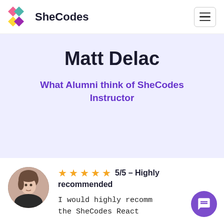[Figure (logo): SheCodes logo with colorful diamond shapes and SheCodes text, plus hamburger menu button]
Matt Delac
What Alumni think of SheCodes Instructor
[Figure (photo): Circular profile photo of a young woman with short brown hair]
5/5 – Highly recommended
I would highly recomm the SheCodes React